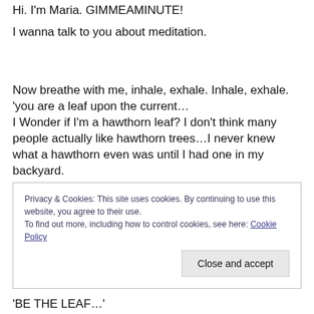Hi. I'm Maria. GIMMEAMINUTE!
I wanna talk to you about meditation.
Now breathe with me, inhale, exhale. Inhale, exhale. 'you are a leaf upon the current… I Wonder if I'm a hawthorn leaf? I don't think many people actually like hawthorn trees…I never knew what a hawthorn even was until I had one in my backyard.
Privacy & Cookies: This site uses cookies. By continuing to use this website, you agree to their use. To find out more, including how to control cookies, see here: Cookie Policy
'BE THE LEAF…'